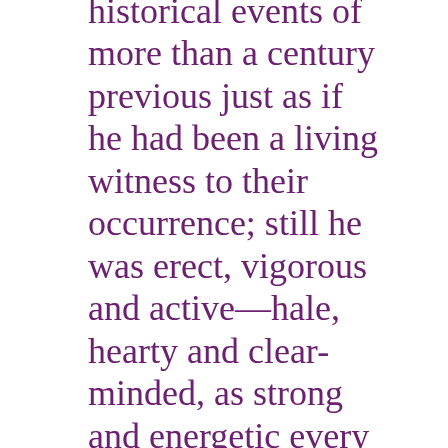historical events of more than a century previous just as if he had been a living witness to their occurrence; still he was erect, vigorous and active—hale, hearty and clear-minded, as strong and energetic every way as in the prime of life. He was tall, of fine figure, perfectly easy, very dignified in his manners, being at once courteous, gracious and commanding. He